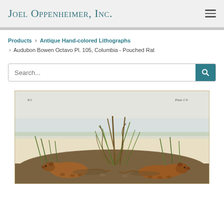Joel Oppenheimer, Inc.
Products > Antique Hand-colored Lithographs > Audubon Bowen Octavo Pl. 105, Columbia - Pouched Rat
Search...
[Figure (illustration): Antique hand-colored lithograph depicting Columbia Pouched Rats (Audubon Bowen Octavo Plate 105). Shows two small brown rodents among green grasses and plant stems on a natural ground setting with a light sky background. Small text in upper corners reads 'P.2.' on the left and 'Plate CV.' on the right.]